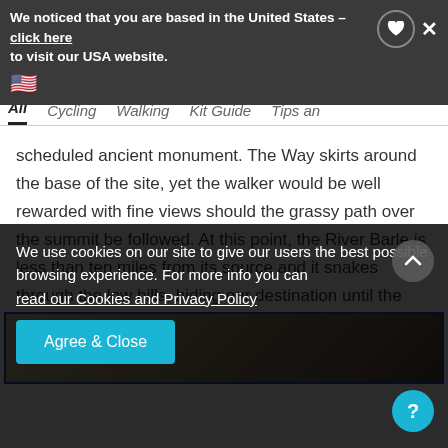We noticed that you are based in the United States - click here to visit our USA website.
All  Cycling  Walking  Kit Guide  Tips and
scheduled ancient monument. The Way skirts around the base of the site, yet the walker would be well rewarded with fine views should the grassy path over the summit be followed. At this point, the River Barle is less than ten miles from its source and it snakes through the low hills, hiding our destination until the last minute –
[Figure (photo): Partial photo visible behind blue-bordered frame, appears to be outdoor/landscape scene]
We use cookies on our site to give our users the best possible browsing experience. For more info you can read our Cookies and Privacy Policy
Agree & Close